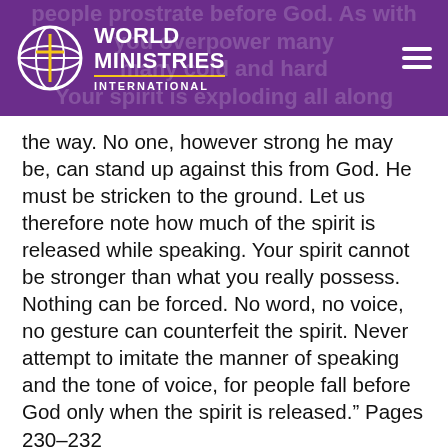WORLD MINISTRIES INTERNATIONAL
the way. No one, however strong he may be, can stand up against this from God. He must be stricken to the ground. Let us therefore note how much of the spirit is released while speaking. Your spirit cannot be stronger than what you really possess. Nothing can be forced. No word, no voice, no gesture can counterfeit the spirit. Never attempt to imitate the manner of speaking and the tone of voice, for people fall before God only when the spirit is released.” Pages 230–232